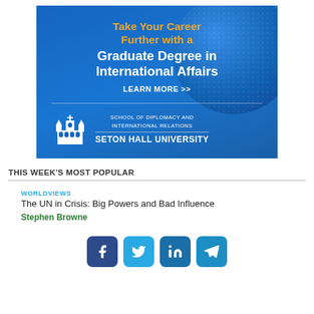[Figure (infographic): Advertisement banner for Seton Hall University School of Diplomacy and International Relations. Blue background with globe graphic. Orange and white text: 'Take Your Career Further with a Graduate Degree in International Affairs. LEARN MORE >>'. Bottom shows church/building icon and school name text.]
THIS WEEK'S MOST POPULAR
WORLDVIEWS
The UN in Crisis: Big Powers and Bad Influence
Stephen Browne
[Figure (infographic): Four social media sharing icons: Facebook (dark blue), Twitter (light blue), LinkedIn (medium blue), Telegram (light blue)]